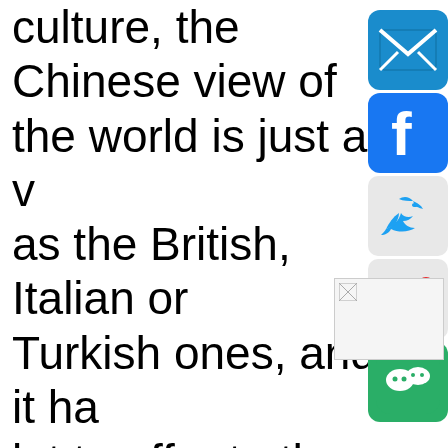culture, the Chinese view of the world is just as valid as the British, Italian or Turkish ones, and it has a lot to offer to those who are passionate about it. "You have to make an effort to step outside of your own box that you've been raised into...
[Figure (infographic): Social media sharing icons: email (blue envelope), Facebook (blue f), Twitter (bird on grey), Weibo (red on grey), WeChat (green smiley faces)]
[Figure (photo): Small broken/placeholder image thumbnail at bottom right]